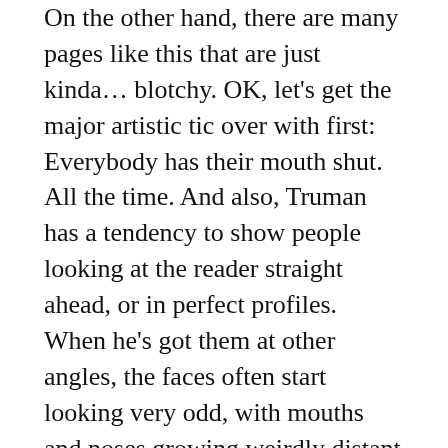On the other hand, there are many pages like this that are just kinda… blotchy. OK, let's get the major artistic tic over with first: Everybody has their mouth shut. All the time. And also, Truman has a tendency to show people looking at the reader straight ahead, or in perfect profiles. When he's got them at other angles, the faces often start looking very odd, with mouths and noses growing weirdly distant or close.
But back to the blotchiness: That guy's face to the left up there. So many of these panels look like they were either drawn at a smaller size than usual so that the linework just gets blotchy, or was drawn fine but the printer messed up. Or perhaps the pen he was using